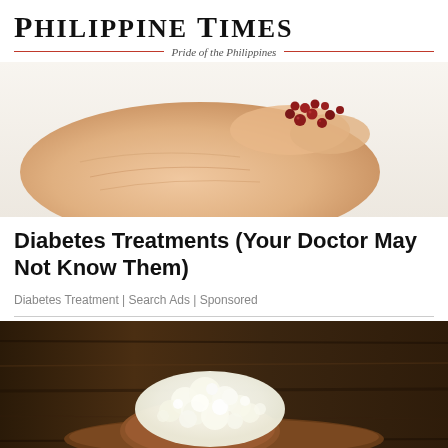PHILIPPINE TIMES — Pride of the Philippines
[Figure (photo): Close-up of an open elderly hand holding small red berries/seeds against a white background]
Diabetes Treatments (Your Doctor May Not Know Them)
Diabetes Treatment | Search Ads | Sponsored
[Figure (photo): A wooden spoon with white cottage cheese or kefir grains on a dark rustic wooden surface]